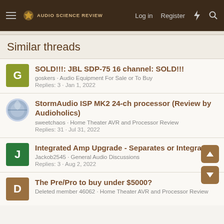Audio Science Review — Log in  Register
Similar threads
SOLD!!!: JBL SDP-75 16 channel: SOLD!!!
goskers · Audio Equipment For Sale or To Buy
Replies: 3 · Jan 1, 2022
StormAudio ISP MK2 24-ch processor (Review by Audioholics)
sweetchaos · Home Theater AVR and Processor Review
Replies: 31 · Jul 31, 2022
Integrated Amp Upgrade - Separates or Integrated?
Jackob2545 · General Audio Discussions
Replies: 3 · Aug 2, 2022
The Pre/Pro to buy under $5000?
Deleted member 46062 · Home Theater AVR and Processor Review